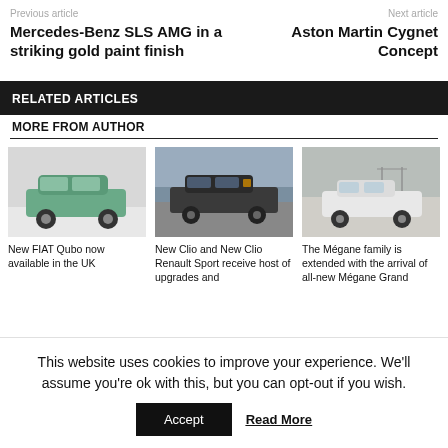Previous article | Next article
Mercedes-Benz SLS AMG in a striking gold paint finish
Aston Martin Cygnet Concept
RELATED ARTICLES
MORE FROM AUTHOR
[Figure (photo): New FIAT Qubo compact van in green/teal color on white background]
New FIAT Qubo now available in the UK
[Figure (photo): New Clio and New Clio Renault Sport dark hatchback parked outdoors near water]
New Clio and New Clio Renault Sport receive host of upgrades and
[Figure (photo): The Mégane family white sedan on road with bridge in background]
The Mégane family is extended with the arrival of all-new Mégane Grand
This website uses cookies to improve your experience. We'll assume you're ok with this, but you can opt-out if you wish.
Accept | Read More